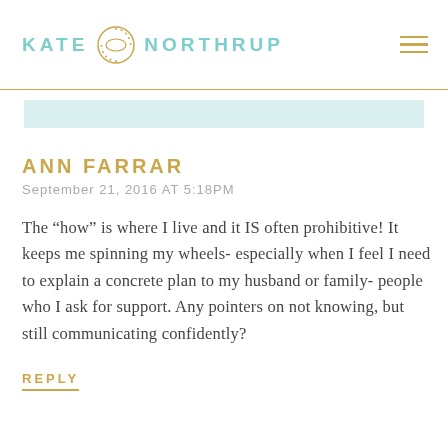KATE NORTHRUP
ANN FARRAR
September 21, 2016 AT 5:18PM
The “how” is where I live and it IS often prohibitive! It keeps me spinning my wheels- especially when I feel I need to explain a concrete plan to my husband or family- people who I ask for support. Any pointers on not knowing, but still communicating confidently?
REPLY